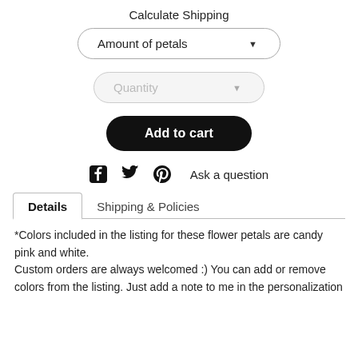Calculate Shipping
[Figure (screenshot): Dropdown selector labeled 'Amount of petals' with a downward arrow, styled as a pill/rounded rectangle button]
[Figure (screenshot): Dropdown selector labeled 'Quantity' in grey, with a downward arrow, styled as a grey pill/rounded rectangle button]
[Figure (screenshot): Black pill-shaped 'Add to cart' button with bold white text]
Ask a question
Details   Shipping & Policies
*Colors included in the listing for these flower petals are candy pink and white.
Custom orders are always welcomed :) You can add or remove colors from the listing. Just add a note to me in the personalization